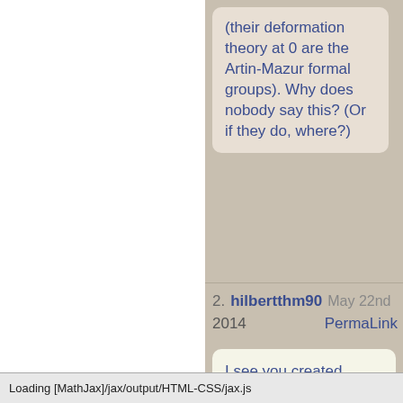(their deformation theory at 0 are the Artin-Mazur formal groups). Why does nobody say this? (Or if they do, where?)
2. hilbertthm90  May 22nd 2014  PermaLink
I see you created “Brauer stack” as well. I’ve wanted to use this term several times, but couldn’t find it anywhere so I’ve always been worried that it exists somewhere under a different name.
Loading [MathJax]/jax/output/HTML-CSS/jax.js